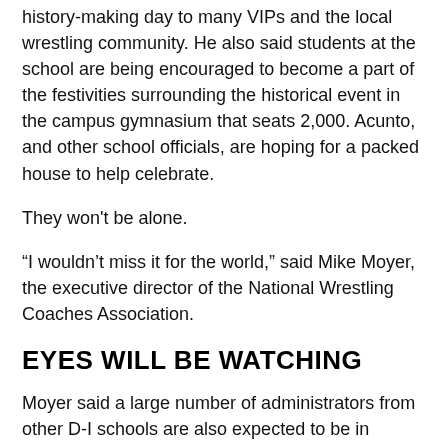history-making day to many VIPs and the local wrestling community. He also said students at the school are being encouraged to become a part of the festivities surrounding the historical event in the campus gymnasium that seats 2,000. Acunto, and other school officials, are hoping for a packed house to help celebrate.
They won't be alone.
“I wouldn’t miss it for the world,” said Mike Moyer, the executive director of the National Wrestling Coaches Association.
EYES WILL BE WATCHING
Moyer said a large number of administrators from other D-I schools are also expected to be in attendance.
“There are several other schools looking at adding Division I women’s wrestling and there will be plenty of people watching